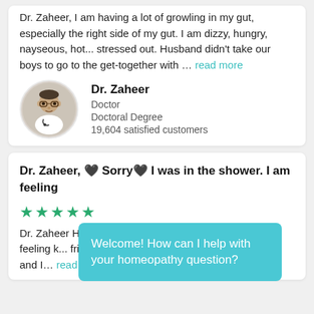Dr. Zaheer, I am having a lot of growling in my gut, especially the right side of my gut. I am dizzy, hungry, nayseous, hot... stressed out. Husband didn't take our boys to go to the get-together with … read more
Dr. Zaheer
Doctor
Doctoral Degree
19,604 satisfied customers
Dr. Zaheer, 🖤 Sorry 🖤 I was in the shower. I am feeling
★★★★★
Dr. Zaheer Hello 🖤 Sorry 🖤 I was in the shower. I am feeling k... friend th... Walmart and it catches on fireman and I… read more
Welcome! How can I help with your homeopathy question?